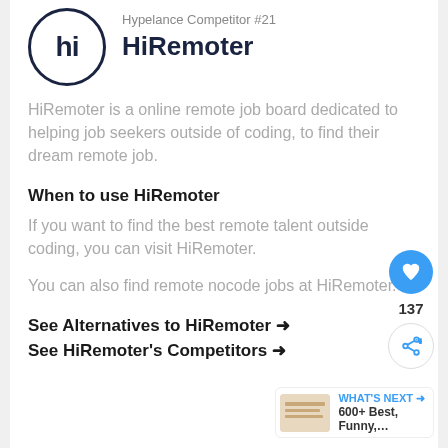[Figure (logo): HiRemoter logo: circle with 'hi' text in dark navy]
Hypelance Competitor #21
HiRemoter
HiRemoter is a online remote job board dedicated to helping job seekers outside of coding, to find their dream remote job.
When to use HiRemoter
If you want to find the best remote talent outside coding, you can visit HiRemoter.
You can also find remote nocode jobs at HiRemoter.
See Alternatives to HiRemoter ➜
See HiRemoter's Competitors ➜